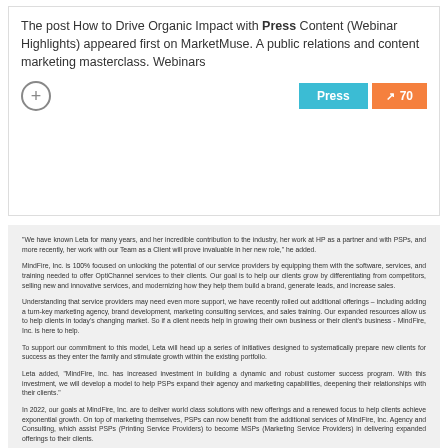The post How to Drive Organic Impact with Press Content (Webinar Highlights) appeared first on MarketMuse. A public relations and content marketing masterclass. Webinars
[Figure (other): Plus button icon and two badges: 'Press' in teal and trending arrow with '70' in orange]
"We have known Leta for many years, and her incredible contribution to the industry, her work at HP as a partner and with PSPs, and more recently, her work with our Team as a Client will prove invaluable in her new role," he added.
MindFire, Inc. is 100% focused on unlocking the potential of our service providers by equipping them with the software, services, and training needed to offer OptiChannel services to their clients. Our goal is to help our clients grow by differentiating from competitors, selling new and innovative services, and modernizing how they help them build a brand, generate leads, and increase sales.
Understanding that service providers may need even more support, we have recently rolled out additional offerings – including adding a turn-key marketing agency, brand development, marketing consulting services, and sales training. Our expanded resources allow us to help clients in today's changing market. So if a client needs help in growing their own business or their client's business - MindFire, Inc. is here to help.
To support our commitment to this model, Leta will head up a series of initiatives designed to systematically prepare new clients for success as they enter the family and stimulate growth within the existing portfolio.
Leta added, "MindFire, Inc. has increased investment in building a dynamic and robust customer success program. With this investment, we will develop a model to help PSPs expand their agency and marketing capabilities, deepening their relationships with their clients."
In 2022, our goals at MindFire, Inc. are to deliver world class solutions with new offerings and a renewed focus to help clients achieve exponential growth. On top of marketing themselves, PSPs can now benefit from the additional services of MindFire, Inc. Agency and Consulting, which assist PSPs (Printing Service Providers) to become MSPs (Marketing Service Providers) in delivering expanded offerings to their clients.
We have seen impressive success with this broader services model, including helping to sell agency services jointly with PSPs to their clients. Some PSP clients have grown their revenue 4X by including MindFire, Inc. in their portfolio of offerings. Now we want to take this proven model and offer it to all PSPs and Agencies.
2022 will be an instrumental year for PSPs to partner closely with clients as they work through post-Covid and supply issues. PSPs need to be thinking differently on how to help their clients and secure their relationships to help drive growth. We are building a client